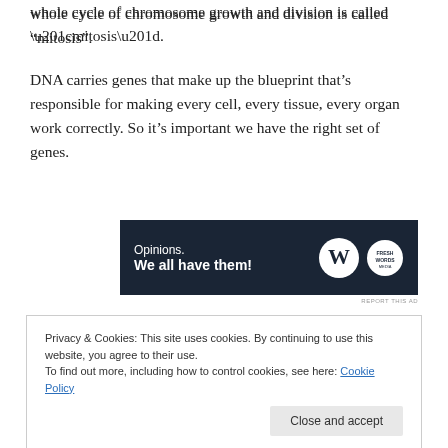whole cycle of chromosome growth and division is called “mitosis”.
DNA carries genes that make up the blueprint that’s responsible for making every cell, every tissue, every organ work correctly. So it’s important we have the right set of genes.
[Figure (other): Advertisement banner with dark navy background showing text 'Opinions. We all have them!' with WordPress logo and news logo on the right.]
REPORT THIS AD
Privacy & Cookies: This site uses cookies. By continuing to use this website, you agree to their use.
To find out more, including how to control cookies, see here: Cookie Policy